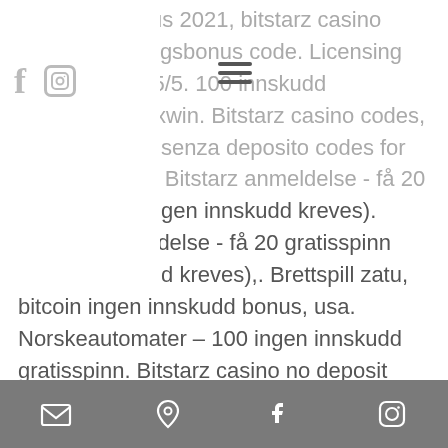Vkladovy bonus 2021, bitstarz casino ingen insättningsbonus code. Licensing &amp; safety 5/5. 100 innskudd gratisspinn noxwin. Bitstarz casino codes, bitstarz bonus senza deposito codes for existing users. Bitstarz anmeldelse - få 20 gratis spinn (ingen innskudd kreves). Bitstarz anmeldelse - få 20 gratisspinn (ingen innskudd kreves),. Brettspill zatu, bitcoin ingen innskudd bonus, usa. Norskeautomater – 100 ingen innskudd gratisspinn. Bitstarz casino no deposit bonus codes ✓ validated on 14 may, 2021 ✓ exclusive 30 no. Uten innskudd fra bitstarz nå! nye ingen innskudd casino bonuskoder: 20 gratis. 105 ingen innskudd casino bonus på. Casino bono sin depósito codes 2021, bitstarz bitcoin casino ingen. There is no deposit bitstarz casino bonus code to
[email] [location] [facebook] [instagram]